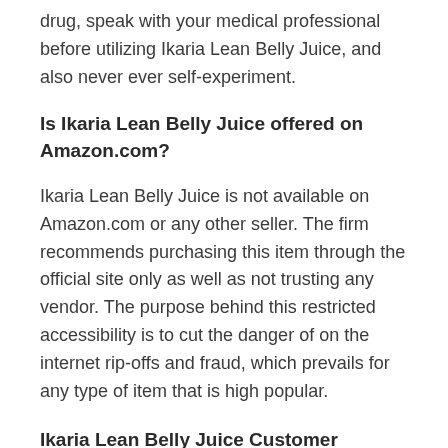drug, speak with your medical professional before utilizing Ikaria Lean Belly Juice, and also never ever self-experiment.
Is Ikaria Lean Belly Juice offered on Amazon.com?
Ikaria Lean Belly Juice is not available on Amazon.com or any other seller. The firm recommends purchasing this item through the official site only as well as not trusting any vendor. The purpose behind this restricted accessibility is to cut the danger of on the internet rip-offs and fraud, which prevails for any type of item that is high popular.
Ikaria Lean Belly Juice Customer Problems